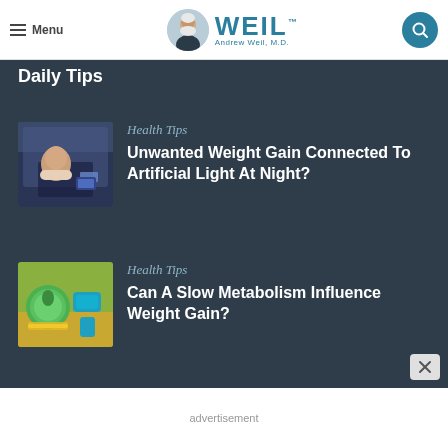Menu | WEIL Andrew Weil, M.D.
Daily Tips
[Figure (photo): Person lying in bed using a smartphone in the dark]
Health Tips
Unwanted Weight Gain Connected To Artificial Light At Night?
[Figure (photo): Green apple, dumbbells, and a measuring tape on a light background]
Health Tips
Can A Slow Metabolism Influence Weight Gain?
advertisement